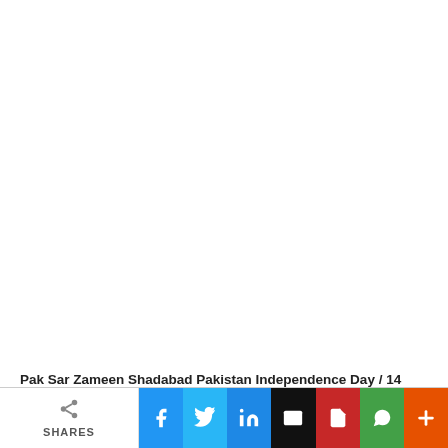[Figure (other): Large blank white image area (main content image not loaded)]
Pak Sar Zameen Shadabad Pakistan Independence Day / 14 august DP
SHARES | Facebook | Twitter | LinkedIn | Email | PDF | WhatsApp | More